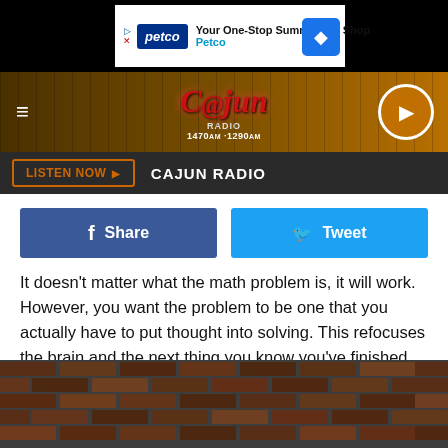[Figure (screenshot): Petco advertisement banner: 'Your One-Stop Summer Pet Shop' with Petco logo and navigation arrow]
[Figure (screenshot): Cajun Radio website header with logo showing 1470AM·1290AM, hamburger menu and play button]
LISTEN NOW ▶   CAJUN RADIO
[Figure (screenshot): Facebook Share and Twitter Tweet social sharing buttons]
It doesn't matter what the math problem is, it will work. However, you want the problem to be one that you actually have to put thought into solving. This refocuses the brain and the next thing you know you've finished up at the urinal and you're washing your hands.
[Figure (photo): Brick wall photo at bottom of page]